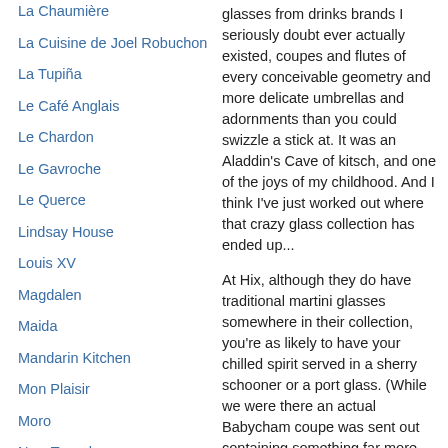La Chaumière
La Cuisine de Joel Robuchon
La Tupiña
Le Café Anglais
Le Chardon
Le Gavroche
Le Querce
Lindsay House
Louis XV
Magdalen
Maida
Mandarin Kitchen
Mon Plaisir
Moro
New Tayyabs
Patterson's
Pierre Koffman at Sefridges
Pig's Ear
glasses from drinks brands I seriously doubt ever actually existed, coupes and flutes of every conceivable geometry and more delicate umbrellas and adornments than you could swizzle a stick at. It was an Aladdin's Cave of kitsch, and one of the joys of my childhood. And I think I've just worked out where that crazy glass collection has ended up...
At Hix, although they do have traditional martini glasses somewhere in their collection, you're as likely to have your chilled spirit served in a sherry schooner or a port glass. (While we were there an actual Babycham coupe was sent out containing something far more grown up than the little bambi might have suggested.) Surprisingly, perhaps, and despite the unchilled glasses, the drinks are none the worse for this presentation, showing the value of a